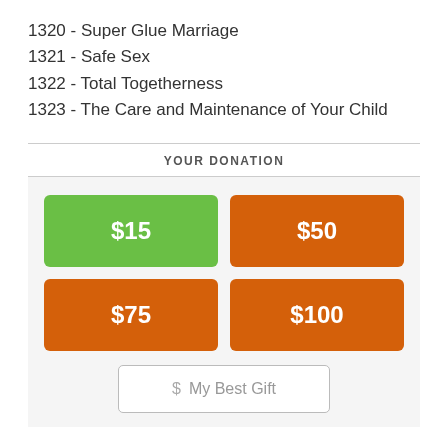1320 - Super Glue Marriage
1321 - Safe Sex
1322 - Total Togetherness
1323 - The Care and Maintenance of Your Child
YOUR DONATION
[Figure (infographic): Donation button grid with four colored buttons ($15 green, $50 orange, $75 orange, $100 orange) and a 'My Best Gift' text input button below]